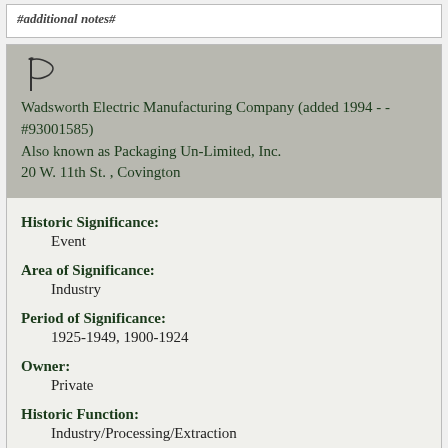Wadsworth Electric Manufacturing Company (added 1994 - - #93001585)
Also known as Packaging Un-Limited, Inc.
20 W. 11th St. , Covington
Historic Significance:
Event
Area of Significance:
Industry
Period of Significance:
1925-1949, 1900-1924
Owner:
Private
Historic Function:
Industry/Processing/Extraction
Historic Sub-function: